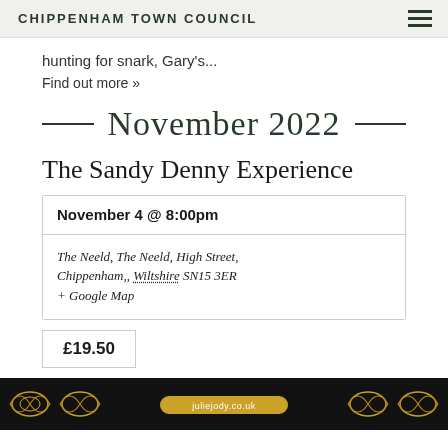CHIPPENHAM TOWN COUNCIL
hunting for snark, Gary's...
Find out more »
November 2022
The Sandy Denny Experience
| November 4 @ 8:00pm |
| The Neeld, The Neeld, High Street, Chippenham,, Wiltshire SN15 3ER
+ Google Map |
£19.50
[Figure (photo): Decorative ornate gold patterned banner image with text 'juliejody.co.uk' on a dark background]